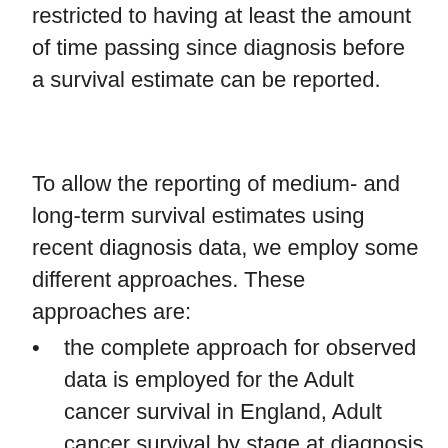restricted to having at least the amount of time passing since diagnosis before a survival estimate can be reported.
To allow the reporting of medium- and long-term survival estimates using recent diagnosis data, we employ some different approaches. These approaches are:
the complete approach for observed data is employed for the Adult cancer survival in England, Adult cancer survival by stage at diagnosis for England and Geographic patterns of cancer survival in England publications estimates for 5-year survival